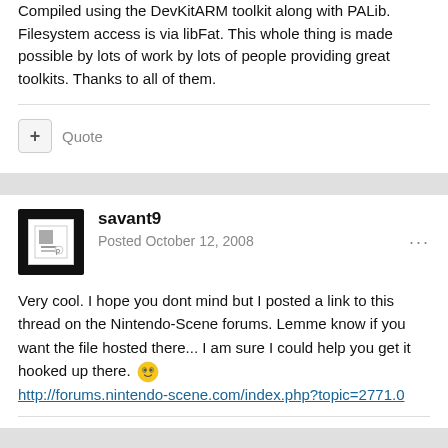Compiled using the DevKitARM toolkit along with PALib. Filesystem access is via libFat. This whole thing is made possible by lots of work by lots of people providing great toolkits. Thanks to all of them.
Quote
savant9
Posted October 12, 2008
Very cool. I hope you dont mind but I posted a link to this thread on the Nintendo-Scene forums. Lemme know if you want the file hosted there... I am sure I could help you get it hooked up there. 😎
http://forums.nintendo-scene.com/index.php?topic=2771.0
Quote